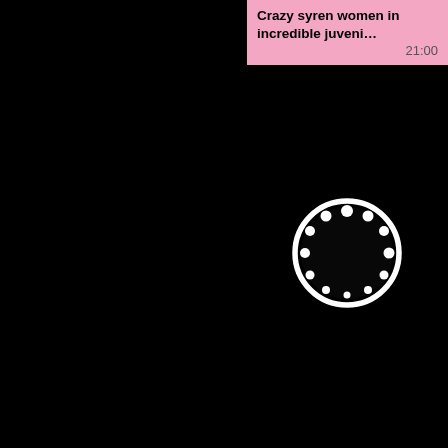Crazy syren women in incredible juveni… 21:00
[Figure (screenshot): Video thumbnail with loading spinner on black background]
Hottest aison xx Morgana Dark in amaz… 20:42
[Figure (screenshot): Video thumbnail with loading spinner on black background]